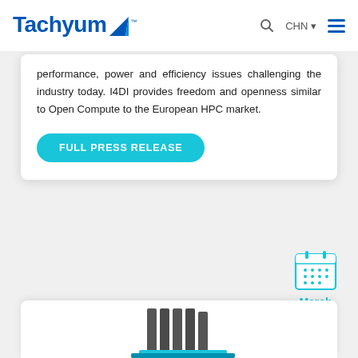Tachyum CHN
performance, power and efficiency issues challenging the industry today. I4DI provides freedom and openness similar to Open Compute to the European HPC market.
FULL PRESS RELEASE
March
[Figure (illustration): Calendar icon in cyan/blue color showing a monthly calendar grid]
[Figure (photo): Server/HPC hardware component visible at the bottom of the page]